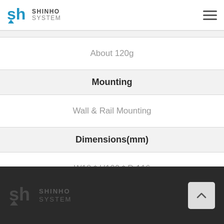SHINHO SYSTEM
| About 120g |
| Mounting |
| Wall & Rail Mounting |
| Dimensions(mm) |
| W18 * H100 * D 116 |
SHINHO SYSTEM